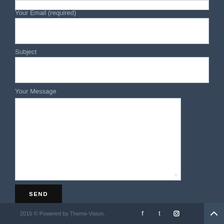Your Email (required)
Subject
Your Message
SEND
2015 © Powered by Theme-Vision.